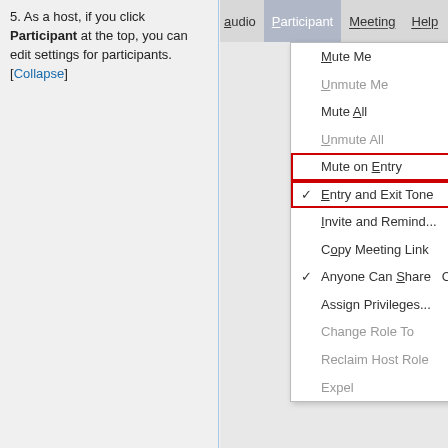5. As a host, if you click Participant at the top, you can edit settings for participants. [Collapse]
[Figure (screenshot): Screenshot of a meeting application menu showing the Participant dropdown menu open, with menu items: Mute Me, Unmute Me (grayed), Mute All, Unmute All (grayed), Mute on Entry (highlighted with red box), Entry and Exit Tone with checkmark (highlighted with red box), Invite and Remind..., Copy Meeting Link, Anyone Can Share with checkmark (Ctrl shortcut), Assign Privileges..., Change Role To (grayed), Reclaim Host Role (grayed), Expel (grayed). Menu bar shows: udio, Participant (selected), Meeting, Help.]